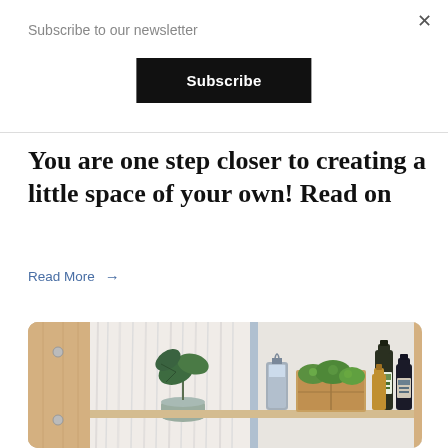Subscribe to our newsletter
Subscribe
You are one step closer to creating a little space of your own! Read on
Read More →
[Figure (photo): A wooden shelf unit with a plant in a pot, a lantern, a wooden crate with green herbs, and dark bottles against a light background with white curtains.]